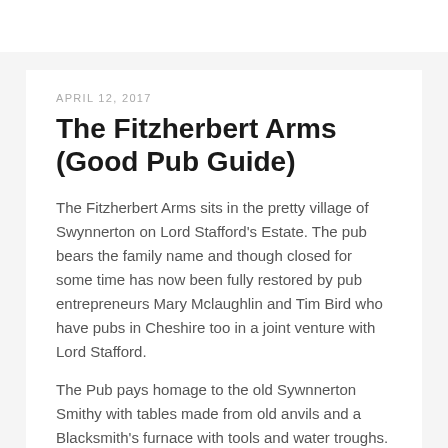APRIL 12, 2017
The Fitzherbert Arms (Good Pub Guide)
The Fitzherbert Arms sits in the pretty village of Swynnerton on Lord Stafford's Estate. The pub bears the family name and though closed for some time has now been fully restored by pub entrepreneurs Mary Mclaughlin and Tim Bird who have pubs in Cheshire too in a joint venture with Lord Stafford.
The Pub pays homage to the old Sywnnerton Smithy with tables made from old anvils and a Blacksmith's furnace with tools and water troughs.
The Pub has over 30 Ports sold by the bottle of which 12 are also served by the glass and half bottle decanter. The pub has close ties with the Symington family who have five generations of Port